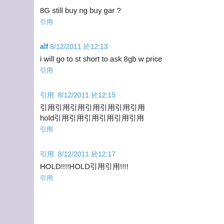8G still buy ng buy gar ?
引用
alf 8/12/2011 於12:13
i will go to st short to ask 8gb w price
引用
引用 8/12/2011 於12:15
引用引用引用引用引用引用引用
hold引用引用引用引用引用引用
引用
引用 8/12/2011 於12:17
HOLD!!!!HOLD引用引用!!!!
引用